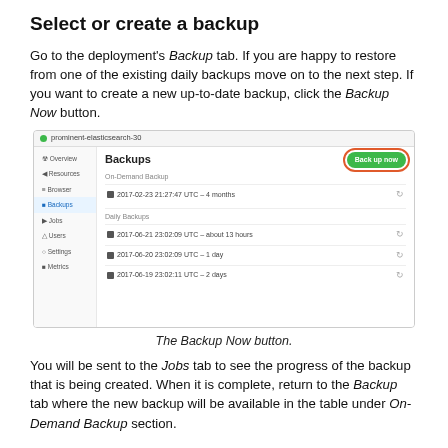Select or create a backup
Go to the deployment's Backup tab. If you are happy to restore from one of the existing daily backups move on to the next step. If you want to create a new up-to-date backup, click the Backup Now button.
[Figure (screenshot): Screenshot of the Backups page in the deployment dashboard showing the Backup Now button circled in orange, the On-Demand Backup section with one entry (2017-02-23 21:27:47 UTC - 4 months), and the Daily Backups section with three entries.]
The Backup Now button.
You will be sent to the Jobs tab to see the progress of the backup that is being created. When it is complete, return to the Backup tab where the new backup will be available in the table under On-Demand Backup section.
Begin a restore